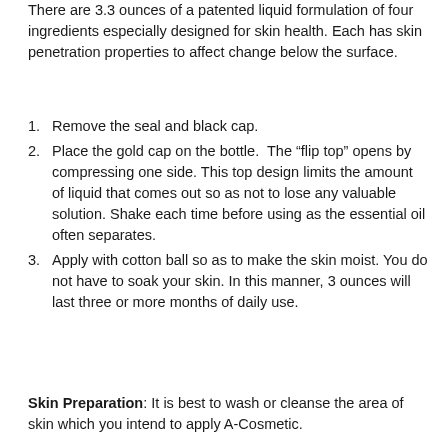There are 3.3 ounces of a patented liquid formulation of four ingredients especially designed for skin health. Each has skin penetration properties to affect change below the surface.
Remove the seal and black cap.
Place the gold cap on the bottle. The “flip top” opens by compressing one side. This top design limits the amount of liquid that comes out so as not to lose any valuable solution. Shake each time before using as the essential oil often separates.
Apply with cotton ball so as to make the skin moist. You do not have to soak your skin. In this manner, 3 ounces will last three or more months of daily use.
Skin Preparation: It is best to wash or cleanse the area of skin which you intend to apply A-Cosmetic.